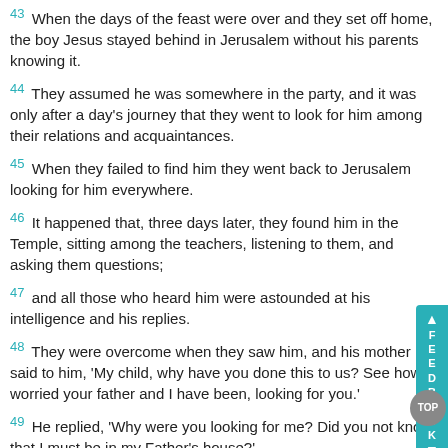43 When the days of the feast were over and they set off home, the boy Jesus stayed behind in Jerusalem without his parents knowing it.
44 They assumed he was somewhere in the party, and it was only after a day's journey that they went to look for him among their relations and acquaintances.
45 When they failed to find him they went back to Jerusalem looking for him everywhere.
46 It happened that, three days later, they found him in the Temple, sitting among the teachers, listening to them, and asking them questions;
47 and all those who heard him were astounded at his intelligence and his replies.
48 They were overcome when they saw him, and his mother said to him, 'My child, why have you done this to us? See how worried your father and I have been, looking for you.'
49 He replied, 'Why were you looking for me? Did you not know that I must be in my Father's house?'
50 But they did not understand what he meant.